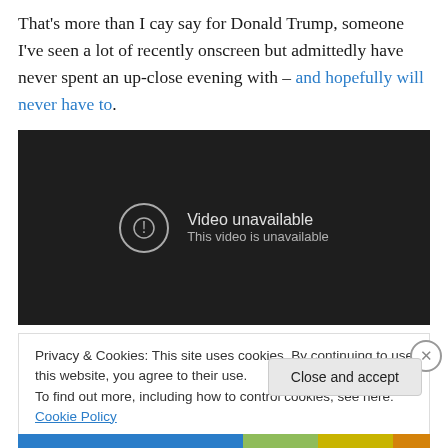That's more than I cay say for Donald Trump, someone I've seen a lot of recently onscreen but admittedly have never spent an up-close evening with – and hopefully will never have to.
[Figure (screenshot): Embedded video player showing 'Video unavailable / This video is unavailable' message on a dark background]
Privacy & Cookies: This site uses cookies. By continuing to use this website, you agree to their use.
To find out more, including how to control cookies, see here: Cookie Policy
Close and accept